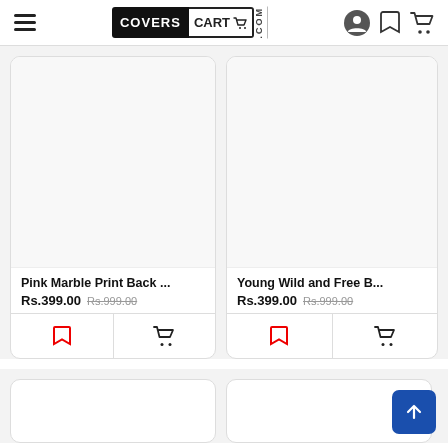COVERSCART.com - navigation header
[Figure (screenshot): Product card: Pink Marble Print Back ... Rs.399.00 (was Rs.999.00) with bookmark and cart icons]
[Figure (screenshot): Product card: Young Wild and Free B... Rs.399.00 (was Rs.999.00) with bookmark and cart icons]
[Figure (screenshot): Two partial product cards at the bottom of the page (content not visible)]